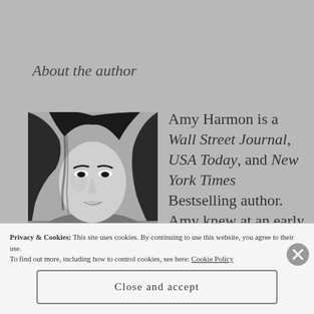About the author
[Figure (photo): Black and white portrait photo of Amy Harmon, a young woman with long dark hair]
Amy Harmon is a Wall Street Journal, USA Today, and New York Times Bestselling author. Amy knew at an early age
Privacy & Cookies: This site uses cookies. By continuing to use this website, you agree to their use.
To find out more, including how to control cookies, see here: Cookie Policy
Close and accept